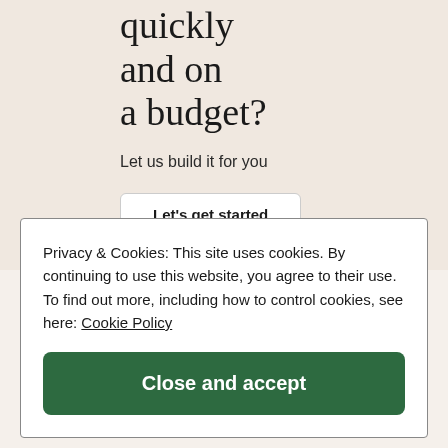quickly and on a budget?
Let us build it for you
Let's get started
Privacy & Cookies: This site uses cookies. By continuing to use this website, you agree to their use. To find out more, including how to control cookies, see here: Cookie Policy
Close and accept